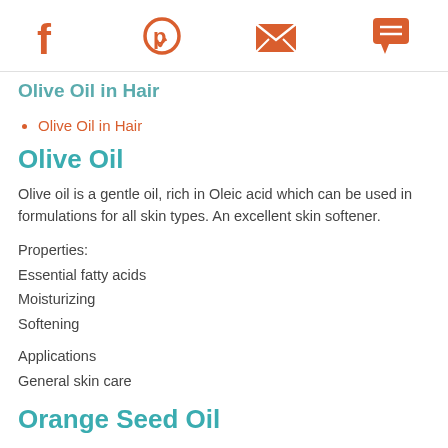[Social share icons: Facebook, Pinterest, Email, Chat]
Olive Oil in Hair
Olive Oil in Hair
Olive Oil
Olive oil is a gentle oil, rich in Oleic acid which can be used in formulations for all skin types. An excellent skin softener.
Properties:
Essential fatty acids
Moisturizing
Softening
Applications
General skin care
Orange Seed Oil